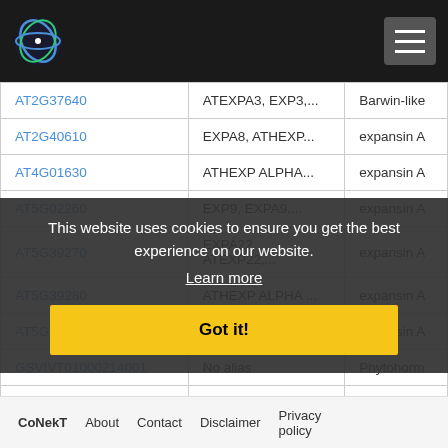CoNekT website header with logo and navigation
| Gene ID | Alias | Description |
| --- | --- | --- |
| AT2G37640 | ATEXPA3, EXP3,... | Barwin-like |
| AT2G40610 | EXPA8, ATHEXP... | expansin A |
| AT4G01630 | ATHEXP ALPHA... | expansin A |
| AT5G02260 | EXP9, EXPA9,... | expansin A |
| AT5G39270 | EXPA22, ATEXP22,... | expansin A |
| AT5G39280 | ATHEXP ALPHA ... | expansin A |
| AT5G393... | ATEXPA5,... | expansin A |
| GSVIVT01000214001 | No alias | Phytohorm |
| GSVIVT01024572001 | No alias | Cell wall,c |
| GSVIVT01028474001 | No alias | Cell wall,c |
This website uses cookies to ensure you get the best experience on our website.
Learn more
Got it!
CoNekT  About  Contact  Disclaimer  Privacy policy